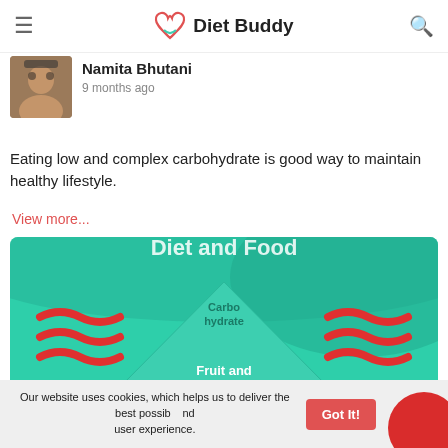Diet Buddy
Namita Bhutani
9 months ago
Eating low and complex carbohydrate is good way to maintain healthy lifestyle.
View more...
[Figure (infographic): Diet food pyramid infographic with teal/green background showing food groups including Carbohydrate at top and Fruit and other levels below, with decorative red wave elements on sides]
Our website uses cookies, which helps us to deliver the best possible user experience.